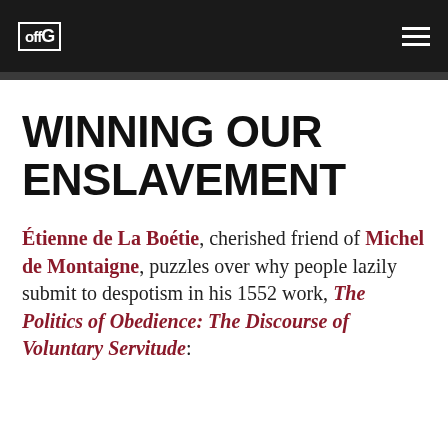offG [logo] [hamburger menu]
WINNING OUR ENSLAVEMENT
Étienne de La Boétie, cherished friend of Michel de Montaigne, puzzles over why people lazily submit to despotism in his 1552 work, The Politics of Obedience: The Discourse of Voluntary Servitude: